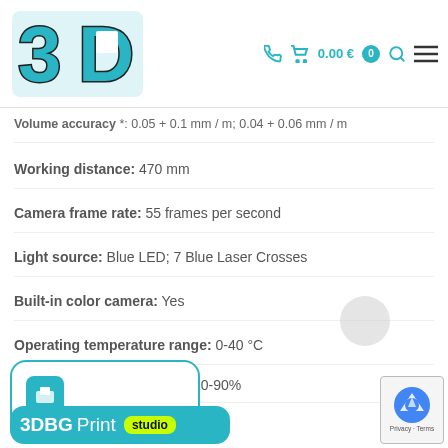3D logo header with cart 0.00€ and navigation icons
Volume accuracy *: 0.05 + 0.1 mm / m; 0.04 + 0.06 mm / m
Working distance: 470 mm
Camera frame rate: 55 frames per second
Light source: Blue LED; 7 Blue Laser Crosses
Built-in color camera: Yes
Operating temperature range: 0-40 °C
Operating humidity range: 10-90%
[Figure (logo): 3DBGPrint studio logo badge in teal/cyan with yellow-green studio pill]